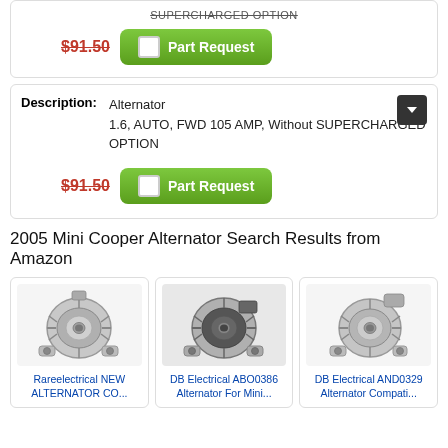SUPERCHARGED OPTION
$91.50  Part Request
Description: Alternator
1.6, AUTO, FWD 105 AMP, Without SUPERCHARGED OPTION
$91.50  Part Request
2005 Mini Cooper Alternator Search Results from Amazon
[Figure (photo): Photo of an alternator part - Rareelectrical NEW ALTERNATOR CO...]
Rareelectrical NEW ALTERNATOR CO...
[Figure (photo): Photo of an alternator part - DB Electrical ABO0386 Alternator For Mini...]
DB Electrical ABO0386 Alternator For Mini...
[Figure (photo): Photo of an alternator part - DB Electrical AND0329 Alternator Compati...]
DB Electrical AND0329 Alternator Compati...